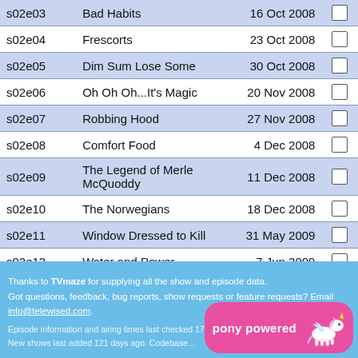| Episode | Title | Air Date |  |
| --- | --- | --- | --- |
| s02e03 | Bad Habits | 16 Oct 2008 | ☐ |
| s02e04 | Frescorts | 23 Oct 2008 | ☐ |
| s02e05 | Dim Sum Lose Some | 30 Oct 2008 | ☐ |
| s02e06 | Oh Oh Oh...It's Magic | 20 Nov 2008 | ☐ |
| s02e07 | Robbing Hood | 27 Nov 2008 | ☐ |
| s02e08 | Comfort Food | 4 Dec 2008 | ☐ |
| s02e09 | The Legend of Merle McQuoddy | 11 Dec 2008 | ☐ |
| s02e10 | The Norwegians | 18 Dec 2008 | ☐ |
| s02e11 | Window Dressed to Kill | 31 May 2009 | ☐ |
| s02e12 | Water and Power | 7 Jun 2009 | ☐ |
| s02e13 | Kerplunk | 14 Jun 2009 | ☐ |
Thanks to TVmaze for supplying all the show and episode data. Got questions, feedback, bug reports, show requests or feature requests? Email info@telewised.com. Episode information and airing times last checked 171 days ago. New shows last added 121 days ago. Codebase... pony powered